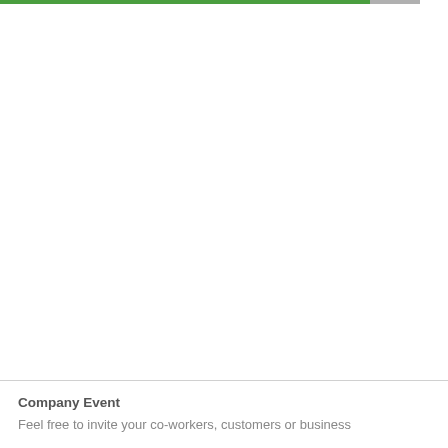Company Event
Feel free to invite your co-workers, customers or business